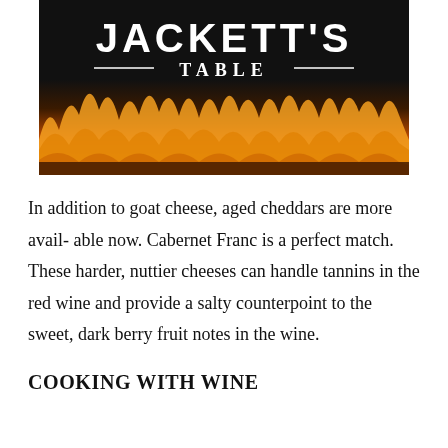[Figure (logo): Jackett's Table logo with fire/flames image on black background, bold serif text reading JACKETT'S TABLE]
In addition to goat cheese, aged cheddars are more avail- able now. Cabernet Franc is a perfect match. These harder, nuttier cheeses can handle tannins in the red wine and provide a salty counterpoint to the sweet, dark berry fruit notes in the wine.
COOKING WITH WINE